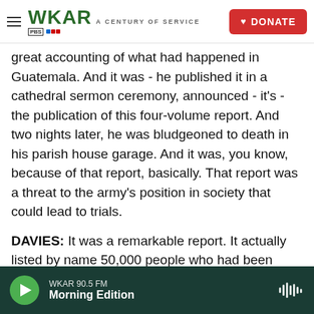WKAR A CENTURY OF SERVICE | DONATE
great accounting of what had happened in Guatemala. And it was - he published it in a cathedral sermon ceremony, announced - it's - the publication of this four-volume report. And two nights later, he was bludgeoned to death in his parish house garage. And it was, you know, because of that report, basically. That report was a threat to the army's position in society that could lead to trials.
DAVIES: It was a remarkable report. It actually listed by name 50,000 people who had been killed. It really made the case about what it, what had
WKAR 90.5 FM | Morning Edition